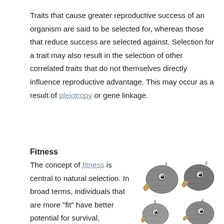Traits that cause greater reproductive success of an organism are said to be selected for, whereas those that reduce success are selected against. Selection for a trait may also result in the selection of other correlated traits that do not themselves directly influence reproductive advantage. This may occur as a result of pleiotropy or gene linkage.
Fitness
The concept of fitness is central to natural selection. In broad terms, individuals that are more "fit" have better potential for survival,
[Figure (illustration): Four bird head illustrations labeled 1-4: 1. Geospiza magnirostris, 2. Geospiza fortis, 3. Geospiza parvula, 4. Certhidea olivacea. Caption: Finches from Galapagos Archipelago]
1. Geospiza magnirostris   2. Geospiza fortis
3. Geospiza parvula          4. Certhidea olivacea
Finches from Galapagos Archipelago